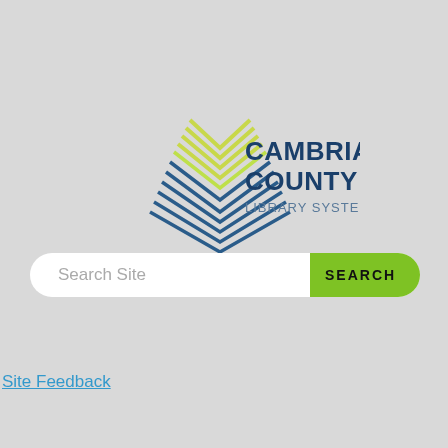[Figure (logo): Cambria County Library System logo with geometric mountain/chevron shapes in green and blue, and text 'CAMBRIA COUNTY LIBRARY SYSTEM']
[Figure (screenshot): Search bar with placeholder text 'Search Site' and a green 'SEARCH' button on the right]
Site Feedback